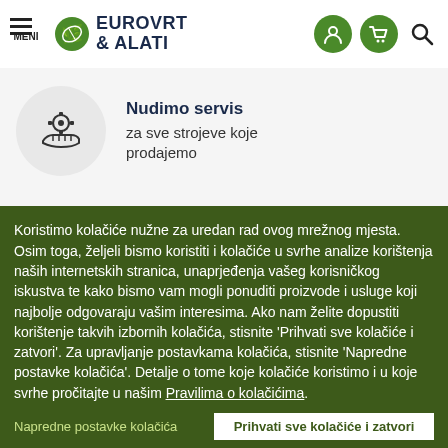EUROVRT & ALATI
Nudimo servis
za sve strojeve koje prodajemo
Stručni prodavači
s osobnim pristupom kupcu
Niži/vi informacije plaćanja
Koristimo kolačiće nužne za uredan rad ovog mrežnog mjesta. Osim toga, željeli bismo koristiti i kolačiće u svrhe analize korištenja naših internetskih stranica, unaprjeđenja vašeg korisničkog iskustva te kako bismo vam mogli ponuditi proizvode i usluge koji najbolje odgovaraju vašim interesima. Ako nam želite dopustiti korištenje takvih izbornih kolačića, stisnite 'Prihvati sve kolačiće i zatvori'. Za upravljanje postavkama kolačića, stisnite 'Napredne postavke kolačića'. Detalje o tome koje kolačiće koristimo i u koje svrhe pročitajte u našim Pravilima o kolačićima.
Napredne postavke kolačića
Prihvati sve kolačiće i zatvori